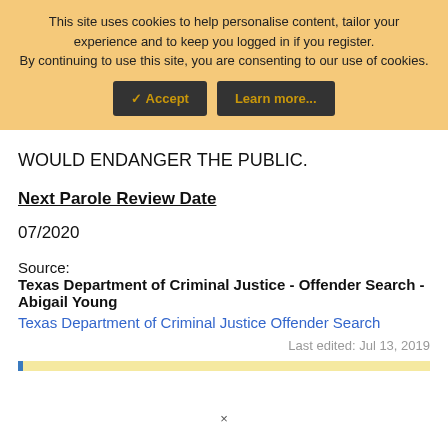This site uses cookies to help personalise content, tailor your experience and to keep you logged in if you register. By continuing to use this site, you are consenting to our use of cookies.
✓ Accept | Learn more...
WOULD ENDANGER THE PUBLIC.
Next Parole Review Date
07/2020
Source:
Texas Department of Criminal Justice - Offender Search - Abigail Young
Texas Department of Criminal Justice Offender Search
Last edited: Jul 13, 2019